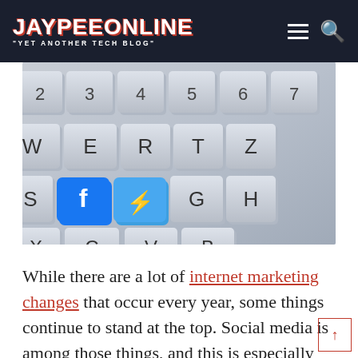JAYPEEONLINE "YET ANOTHER TECH BLOG"
[Figure (photo): Close-up photo of a laptop keyboard with Facebook and Facebook Messenger app icons on two of the keys (replacing the D and F keys area). Other visible keys include numbers 2-7, letters W, E, R, T, Z, S, G, H, X, C, V, B.]
While there are a lot of internet marketing changes that occur every year, some things continue to stand at the top. Social media is among those things, and this is especially true for Facebook. Even if the company has been